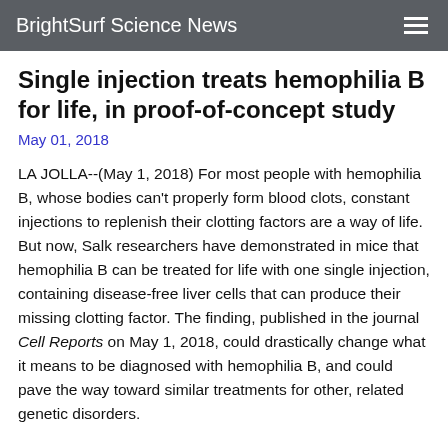BrightSurf Science News
Single injection treats hemophilia B for life, in proof-of-concept study
May 01, 2018
LA JOLLA--(May 1, 2018) For most people with hemophilia B, whose bodies can't properly form blood clots, constant injections to replenish their clotting factors are a way of life. But now, Salk researchers have demonstrated in mice that hemophilia B can be treated for life with one single injection, containing disease-free liver cells that can produce their missing clotting factor. The finding, published in the journal Cell Reports on May 1, 2018, could drastically change what it means to be diagnosed with hemophilia B, and could pave the way toward similar treatments for other, related genetic disorders.